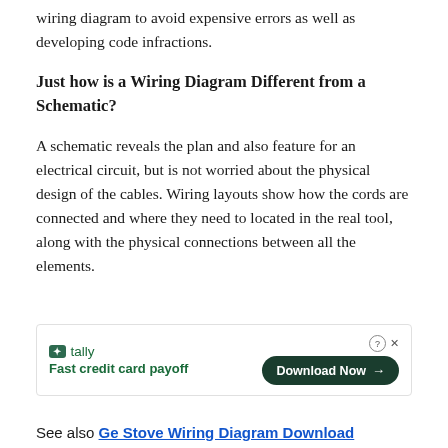wiring diagram to avoid expensive errors as well as developing code infractions.
Just how is a Wiring Diagram Different from a Schematic?
A schematic reveals the plan and also feature for an electrical circuit, but is not worried about the physical design of the cables. Wiring layouts show how the cords are connected and where they need to located in the real tool, along with the physical connections between all the elements.
[Figure (infographic): Tally advertisement banner with logo, tagline 'Fast credit card payoff', and a 'Download Now' button. Includes close (x) and help (?) icons.]
See also  Ge Stove Wiring Diagram Download